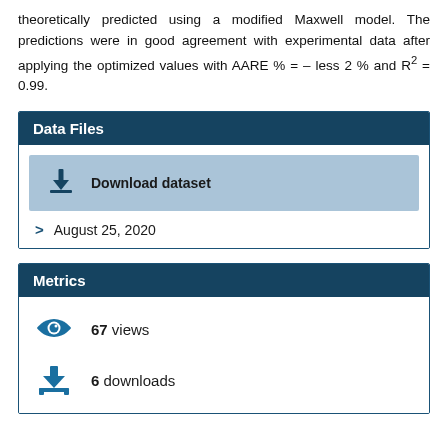theoretically predicted using a modified Maxwell model. The predictions were in good agreement with experimental data after applying the optimized values with AARE % = – less 2 % and R² = 0.99.
Data Files
Download dataset
August 25, 2020
Metrics
67 views
6 downloads